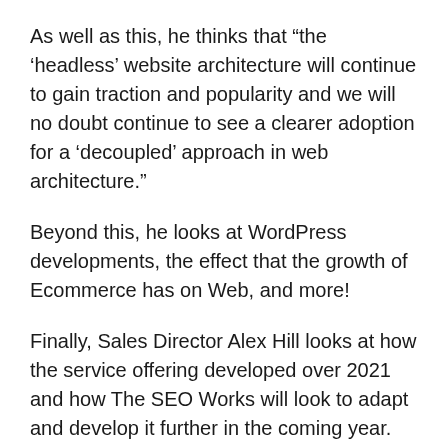As well as this, he thinks that “the ‘headless’ website architecture will continue to gain traction and popularity and we will no doubt continue to see a clearer adoption for a ‘decoupled’ approach in web architecture.”
Beyond this, he looks at WordPress developments, the effect that the growth of Ecommerce has on Web, and more!
Finally, Sales Director Alex Hill looks at how the service offering developed over 2021 and how The SEO Works will look to adapt and develop it further in the coming year.
“We’re delighted to have developed our Digital PR offering into a standalone service this year, and have